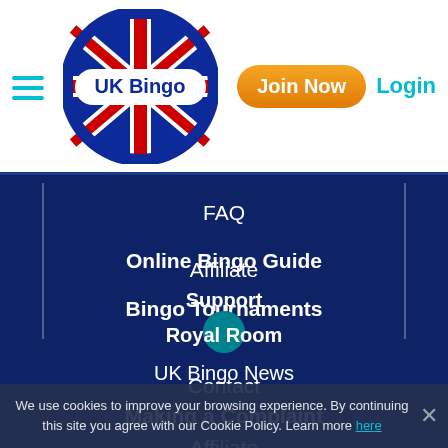[Figure (logo): UK Bingo logo with Union Jack flag inside oval shape with cyan border, hamburger menu icon on left, Join Now orange button and Login cyan text on right]
FAQ
Online Bingo Guide
Bingo Tournaments
Contact
Making a Complaint
Affiliate
Support
Royal Room
UK Bingo News
We use cookies to improve your browsing experience. By continuing this site you agree with our Cookie Policy. Learn more here